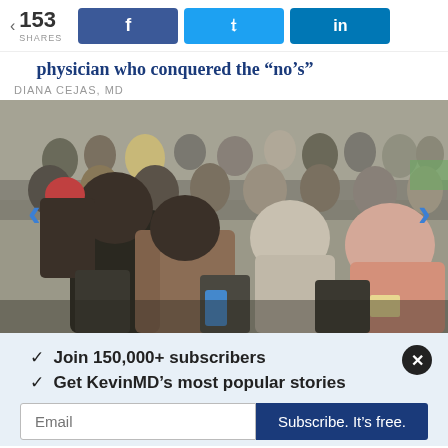153 SHARES | Facebook share | Twitter share | LinkedIn share
physician who conquered the “no’s”
DIANA CEJAS, MD
[Figure (photo): A large audience seated in chairs at what appears to be a medical conference or convention hall, photographed from behind. Many attendees visible including people in the foreground seated in black chairs.]
✓  Join 150,000+ subscribers
✓  Get KevinMD’s most popular stories
Email  |  Subscribe. It’s free.